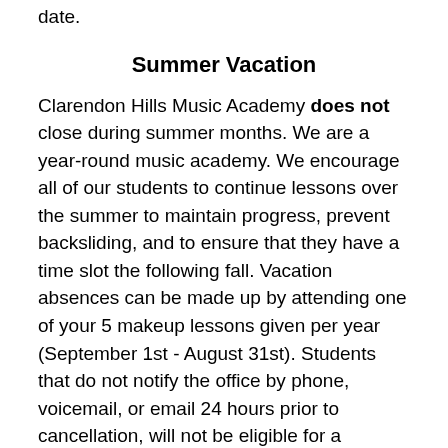date.
Summer Vacation
Clarendon Hills Music Academy does not close during summer months. We are a year-round music academy. We encourage all of our students to continue lessons over the summer to maintain progress, prevent backsliding, and to ensure that they have a time slot the following fall. Vacation absences can be made up by attending one of your 5 makeup lessons given per year (September 1st - August 31st). Students that do not notify the office by phone, voicemail, or email 24 hours prior to cancellation, will not be eligible for a makeup lesson.
If you need to withdrawal for the summer, you will